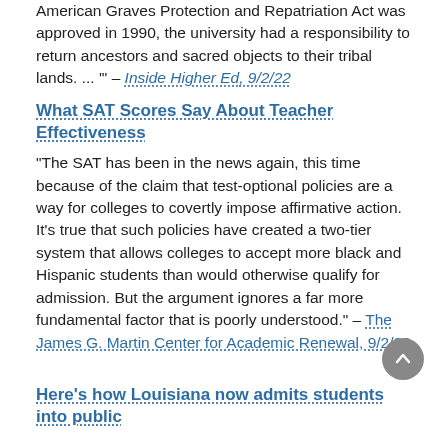American Graves Protection and Repatriation Act was approved in 1990, the university had a responsibility to return ancestors and sacred objects to their tribal lands. ... '" – Inside Higher Ed, 9/2/22
What SAT Scores Say About Teacher Effectiveness
"The SAT has been in the news again, this time because of the claim that test-optional policies are a way for colleges to covertly impose affirmative action. It's true that such policies have created a two-tier system that allows colleges to accept more black and Hispanic students than would otherwise qualify for admission. But the argument ignores a far more fundamental factor that is poorly understood." – The James G. Martin Center for Academic Renewal, 9/2/22
Here's how Louisiana now admits students into public